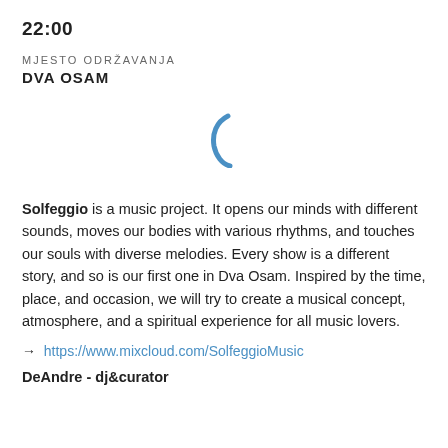22:00
MJESTO ODRŽAVANJA
DVA OSAM
[Figure (other): A blue spinning/loading indicator icon — a partial arc/parenthesis shape in blue color, centered in whitespace area]
Solfeggio is a music project. It opens our minds with different sounds, moves our bodies with various rhythms, and touches our souls with diverse melodies. Every show is a different story, and so is our first one in Dva Osam. Inspired by the time, place, and occasion, we will try to create a musical concept, atmosphere, and a spiritual experience for all music lovers.
→  https://www.mixcloud.com/SolfeggioMusic
DeAndre - dj&curator